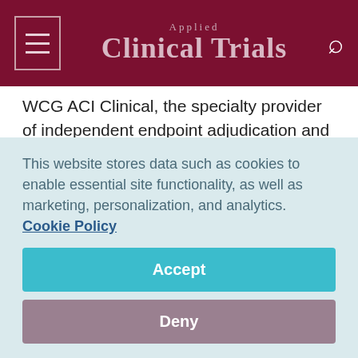Applied Clinical Trials
WCG ACI Clinical, the specialty provider of independent endpoint adjudication and data monitoring committees for clinical trials, has launched the latest iteration of its proprietary AIMS (Adjudication Information Management System) platform. AIMS 4.1 offers users of WCG's endpoint adjudication solutions an enhanced interface and workflow
This website stores data such as cookies to enable essential site functionality, as well as marketing, personalization, and analytics. Cookie Policy
Accept
Deny